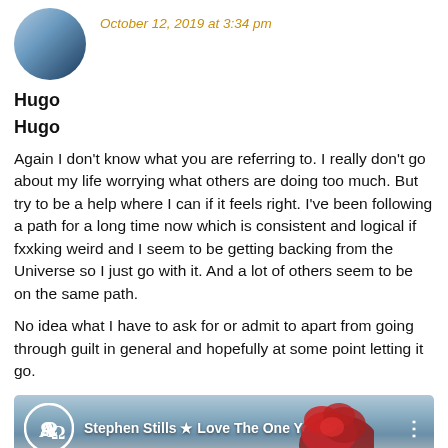[Figure (photo): User avatar: circular profile photo with blue-gray gradient resembling a stormy sky or abstract image]
October 12, 2019 at 3:34 pm
Hugo
Again I don't know what you are referring to. I really don't go about my life worrying what others are doing too much. But try to be a help where I can if it feels right. I've been following a path for a long time now which is consistent and logical if fxxking weird and I seem to be getting backing from the Universe so I just go with it. And a lot of others seem to be on the same path.
No idea what I have to ask for or admit to apart from going through guilt in general and hopefully at some point letting it go.
[Figure (screenshot): Video embed thumbnail showing 'Stephen Stills ★ Love The One You'...' with Alpha-Omega logo circle and red flower in background]